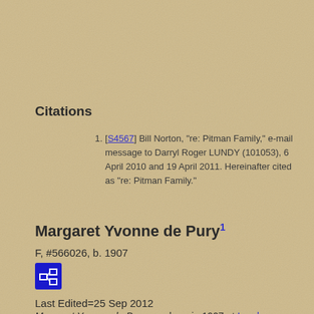Citations
[S4567] Bill Norton, "re: Pitman Family," e-mail message to Darryl Roger LUNDY (101053), 6 April 2010 and 19 April 2011. Hereinafter cited as "re: Pitman Family."
Margaret Yvonne de Pury1
F, #566026, b. 1907
Last Edited=25 Sep 2012